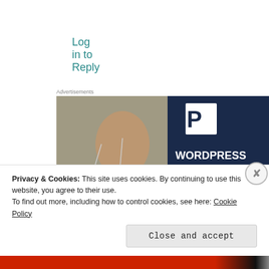Log in to Reply
Advertisements
[Figure (photo): WordPress hosting advertisement showing a smiling woman holding an OPEN sign, with text: WORDPRESS HOSTING THAT MEANS BUSINESS. and a LEARN MORE button. A large white P logo is shown on a dark navy background.]
Privacy & Cookies: This site uses cookies. By continuing to use this website, you agree to their use.
To find out more, including how to control cookies, see here: Cookie Policy
Close and accept